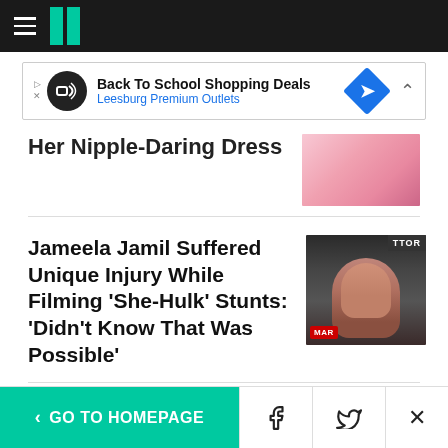HuffPost navigation bar with hamburger menu and logo
[Figure (screenshot): Advertisement banner: Back To School Shopping Deals – Leesburg Premium Outlets]
Her Nipple-Daring Dress
Jameela Jamil Suffered Unique Injury While Filming 'She-Hulk' Stunts: 'Didn't Know That Was Possible'
The Good... (partially visible bottom article title)
< GO TO HOMEPAGE | Facebook | Twitter | X